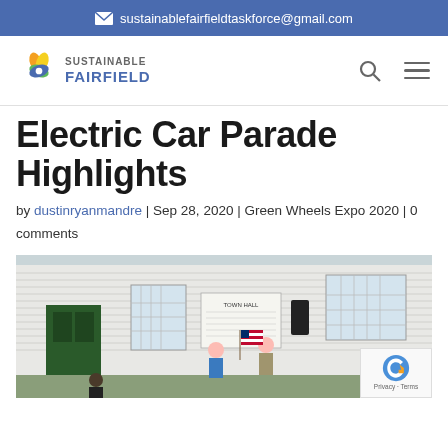sustainablefairfieldtaskforce@gmail.com
[Figure (logo): Sustainable Fairfield logo with colorful leaf/flower icon and text SUSTAINABLE FAIRFIELD]
Electric Car Parade Highlights
by dustinryanmandre | Sep 28, 2020 | Green Wheels Expo 2020 | 0 comments
[Figure (photo): Outdoor scene in front of Fairfield Town Hall white building. People wearing masks gathering outside. A person in blue shirt and another in khaki outfit with mask stand near a speaker. American flag visible. Audience seated in foreground.]